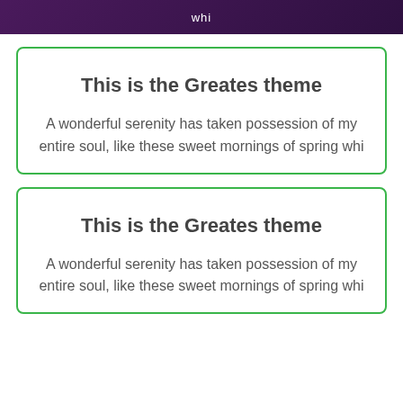whi
This is the Greates theme
A wonderful serenity has taken possession of my entire soul, like these sweet mornings of spring whi
This is the Greates theme
A wonderful serenity has taken possession of my entire soul, like these sweet mornings of spring whi